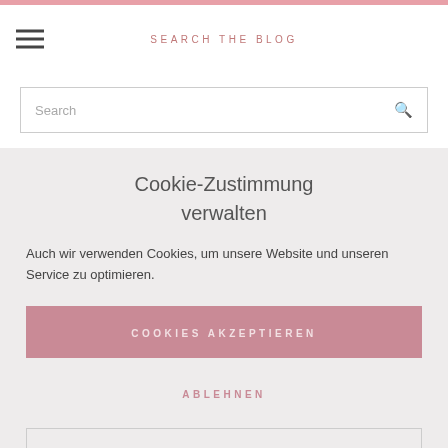SEARCH THE BLOG
Search
Cookie-Zustimmung verwalten
Auch wir verwenden Cookies, um unsere Website und unseren Service zu optimieren.
COOKIES AKZEPTIEREN
ABLEHNEN
EINSTELLUNGEN ANZEIGEN